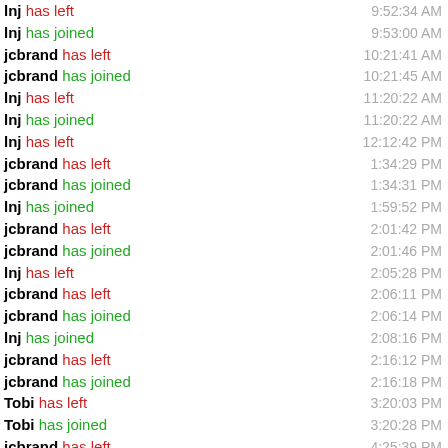lnj has left 9:52:34 AM
lnj has joined 9:53:00 AM
jcbrand has left 10:21:41 AM
jcbrand has joined 10:21:45 AM
lnj has left 11:20:22 AM
lnj has joined 11:20:22 AM
lnj has left 12:12:42 PM
jcbrand has left 1:34:29 PM
jcbrand has joined 1:34:31 PM
lnj has joined 1:59:52 PM
jcbrand has left 2:01:42 PM
jcbrand has joined 2:01:46 PM
lnj has left 2:05:28 PM
jcbrand has left 2:06:11 PM
jcbrand has joined 2:06:14 PM
lnj has joined 2:08:16 PM
jcbrand has left 2:16:12 PM
jcbrand has joined 2:16:18 PM
Tobi has left 3:20:03 PM
Tobi has joined 3:20:28 PM
jcbrand has left 4:25:39 PM
jcbrand has joined 4:25:42 PM
Guus has left 6:12:10 PM
Guus has joined 6:12:11 PM
Guus has left